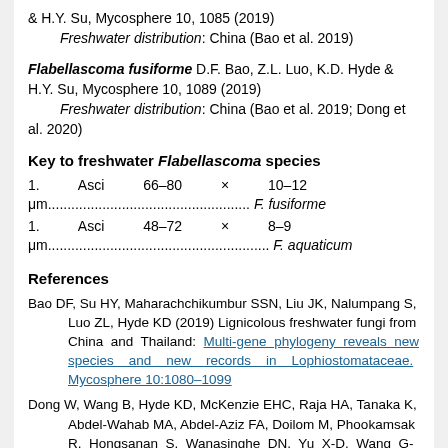& H.Y. Su, Mycosphere 10, 1085 (2019)
    Freshwater distribution: China (Bao et al. 2019)
Flabellascoma fusiforme D.F. Bao, Z.L. Luo, K.D. Hyde & H.Y. Su, Mycosphere 10, 1089 (2019)
    Freshwater distribution: China (Bao et al. 2019; Dong et al. 2020)
Key to freshwater Flabellascoma species
1.    Asci    66–80    ×    10–12 μm.................................................... F. fusiforme
1.    Asci    48–72    ×    8–9 μm......................................................... F. aquaticum
References
Bao DF, Su HY, Maharachchikumbur SSN, Liu JK, Nalumpang S, Luo ZL, Hyde KD (2019) Lignicolous freshwater fungi from China and Thailand: Multi-gene phylogeny reveals new species and new records in Lophiostomataceae. Mycosphere 10:1080–1099
Dong W, Wang B, Hyde KD, McKenzie EHC, Raja HA, Tanaka K, Abdel-Wahab MA, Abdel-Aziz FA, Doilom M, Phookamsak R, Hongsanan S, Wanasinghe DN, Yu X-D, Wang G-N, Yang H, Yang J, Thambugala KM, Tian Q, Luo Z-L, Yang J-B, Miller AN, Fournier J, Boonmee S, Hu D-M, Nalumpang